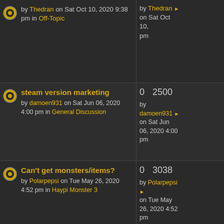by Thedran on Sat Oct 10, 2020 9:38 pm in Off-Topic | by Thedran on Sat Oct 10, pm | Back
steam version marketing by damoen931 on Sat Jun 06, 2020 4:00 pm in General Discussion | 0 2500 | by damoen931 on Sat Jun 06, 2020 4:00 pm
Can't get monsters/items? by Polarpepsi on Tue May 26, 2020 4:52 pm in Haypi Monster 3 | 0 3038 | by Polarpepsi on Tue May 26, 2020 4:52 pm
Change of password no response. by Miaou on Sat May 23, 2020 6:20 pm in Imperial | 0 7095 | by Miaou